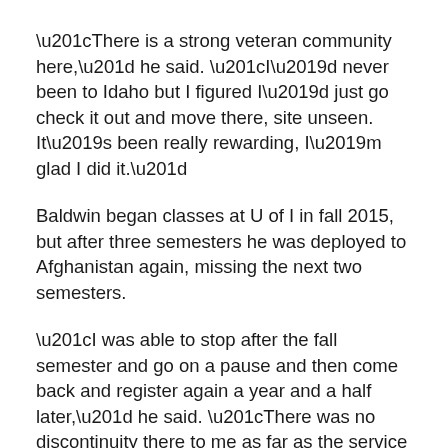“There is a strong veteran community here,” he said. “I’d never been to Idaho but I figured I’d just go check it out and move there, site unseen. It’s been really rewarding, I’m glad I did it.”
Baldwin began classes at U of I in fall 2015, but after three semesters he was deployed to Afghanistan again, missing the next two semesters.
“I was able to stop after the fall semester and go on a pause and then come back and register again a year and a half later,” he said. “There was no discontinuity there to me as far as the service the university has provided.”
Baldwin’s responsibilities often take him away from campus for training exercises. He serves as a Joint Terminal Attack Controller with the 6th ANGLICO (Air Naval Gunfire Liaison Company) based at Fort Lewis